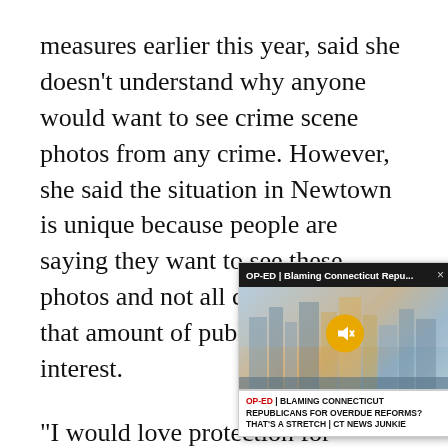measures earlier this year, said she doesn't understand why anyone would want to see crime scene photos from any crime. However, she said the situation in Newtown is unique because people are saying they want to see these photos and not all crimes receive that amount of publicity and public interest.
“I would love protection for everyone, but right now to be fa[ir, we need to focus on this] particular tragedy[.”]
The families were [joined by a number] of lawmakers Frid[ay who expressed] support for the le[gislation.]
[Figure (screenshot): A video popup overlay showing an OP-ED article preview titled 'Blaming Connecticut Repu...' with a dark header bar, an image of a city skyline, a muted speaker icon in a yellow circle, and a caption reading 'OP-ED | BLAMING CONNECTICUT REPUBLICANS FOR OVERDUE REFORMS? THAT’S A STRETCH | CT NEWS JUNKIE']